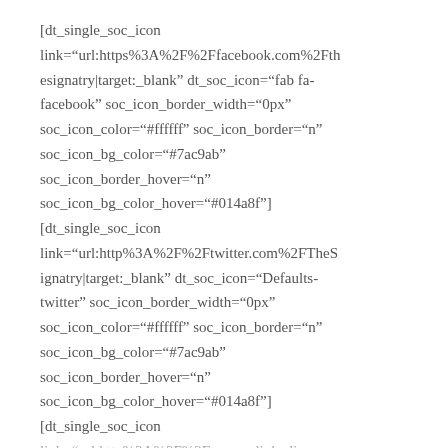[dt_single_soc_icon link="url:https%3A%2F%2Ffacebook.com%2Fthesignatry|target:_blank" dt_soc_icon="fab fa-facebook" soc_icon_border_width="0px" soc_icon_color="#ffffff" soc_icon_border="n" soc_icon_bg_color="#7ac9ab" soc_icon_border_hover="n" soc_icon_bg_color_hover="#014a8f"] [dt_single_soc_icon link="url:http%3A%2F%2Ftwitter.com%2FTheSignatry|target:_blank" dt_soc_icon="Defaults-twitter" soc_icon_border_width="0px" soc_icon_color="#ffffff" soc_icon_border="n" soc_icon_bg_color="#7ac9ab" soc_icon_border_hover="n" soc_icon_bg_color_hover="#014a8f"] [dt_single_soc_icon link="url:https%3A%2F%2Fwww.linkedin.com...